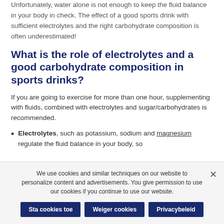Unfortunately, water alone is not enough to keep the fluid balance in your body in check. The effect of a good sports drink with sufficient electrolytes and the right carbohydrate composition is often underestimated!
What is the role of electrolytes and a good carbohydrate composition in sports drinks?
If you are going to exercise for more than one hour, supplementing with fluids, combined with electrolytes and sugar/carbohydrates is recommended.
Electrolytes, such as potassium, sodium and magnesium regulate the fluid balance in your body, so
We use cookies and similar techniques on our website to personalize content and advertisements. You give permission to use our cookies if you continue to use our website.